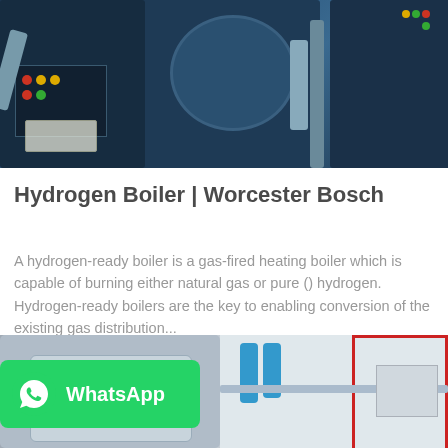[Figure (photo): Industrial hydrogen boiler equipment — blue machinery with pipes, control panels and colored indicator buttons]
Hydrogen Boiler | Worcester Bosch
A hydrogen-ready boiler is a gas-fired heating boiler which is capable of burning either natural gas or pure () hydrogen. Hydrogen-ready boilers are the key to enabling conversion of the existing gas distribution...
[Figure (photo): Industrial boiler equipment showing blue cylindrical pipes, stainless steel tanks with Chinese text branding, and a red-framed industrial unit]
[Figure (logo): WhatsApp badge — green rounded rectangle with WhatsApp phone icon and bold white 'WhatsApp' text]